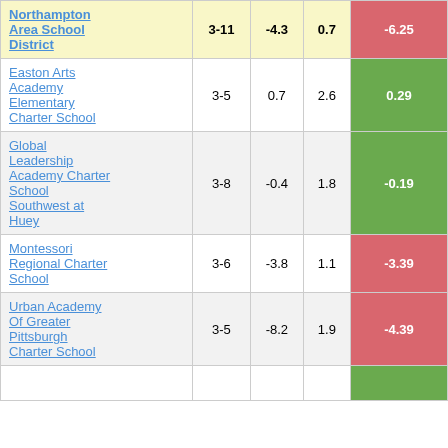| School | Grades | Col3 | Col4 | Score |
| --- | --- | --- | --- | --- |
| Northampton Area School District | 3-11 | -4.3 | 0.7 | -6.25 |
| Easton Arts Academy Elementary Charter School | 3-5 | 0.7 | 2.6 | 0.29 |
| Global Leadership Academy Charter School Southwest at Huey | 3-8 | -0.4 | 1.8 | -0.19 |
| Montessori Regional Charter School | 3-6 | -3.8 | 1.1 | -3.39 |
| Urban Academy Of Greater Pittsburgh Charter School | 3-5 | -8.2 | 1.9 | -4.39 |